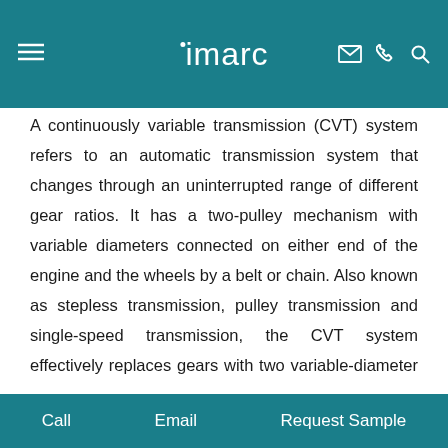imarc
A continuously variable transmission (CVT) system refers to an automatic transmission system that changes through an uninterrupted range of different gear ratios. It has a two-pulley mechanism with variable diameters connected on either end of the engine and the wheels by a belt or chain. Also known as stepless transmission, pulley transmission and single-speed transmission, the CVT system effectively replaces gears with two variable-diameter pulleys. As a result, it offers useable power and driving convenience as compared to automatic transmission systems. Moreover, the CVT system is extremely fuel-efficient and provides maximum speed at low engine speed. They are also lightweight, easy to maintain, and consist of fewer moving parts.
Call   Email   Request Sample